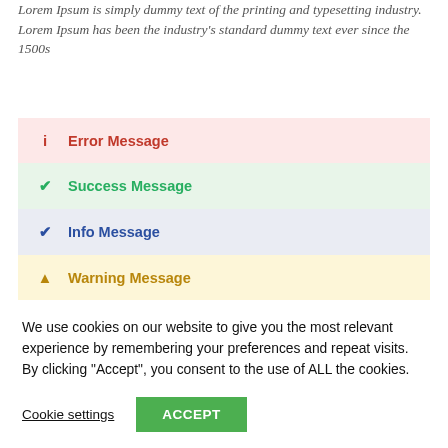Lorem Ipsum is simply dummy text of the printing and typesetting industry. Lorem Ipsum has been the industry's standard dummy text ever since the 1500s
Error Message
Success Message
Info Message
Warning Message
We use cookies on our website to give you the most relevant experience by remembering your preferences and repeat visits. By clicking “Accept”, you consent to the use of ALL the cookies.
Cookie settings   ACCEPT